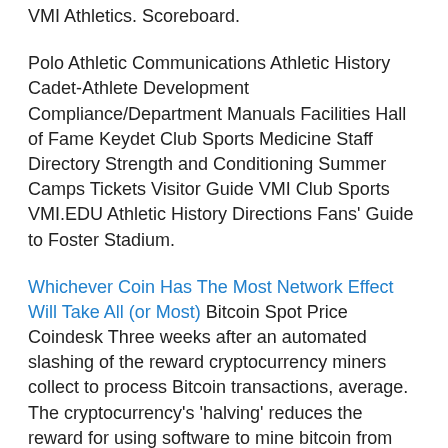VMI Athletics. Scoreboard.
Polo Athletic Communications Athletic History Cadet-Athlete Development Compliance/Department Manuals Facilities Hall of Fame Keydet Club Sports Medicine Staff Directory Strength and Conditioning Summer Camps Tickets Visitor Guide VMI Club Sports VMI.EDU Athletic History Directions Fans' Guide to Foster Stadium.
Whichever Coin Has The Most Network Effect Will Take All (or Most) Bitcoin Spot Price Coindesk Three weeks after an automated slashing of the reward cryptocurrency miners collect to process Bitcoin transactions, average. The cryptocurrency's 'halving' reduces the reward for using software to mine bitcoin from 12.5 new coins to 6.25. Bitcoin has surged to its highest price since February amid ongoing civil disorder in the U.S.
Brandon Huffman, a 6-foot-10, 255-pound junior who played in 14 games for North Carolina this past season, plans to transfer, calling it a "rough decision to make" in a social-media post. Virginia Military Keydets vs N.C. State Wolfpack odds,